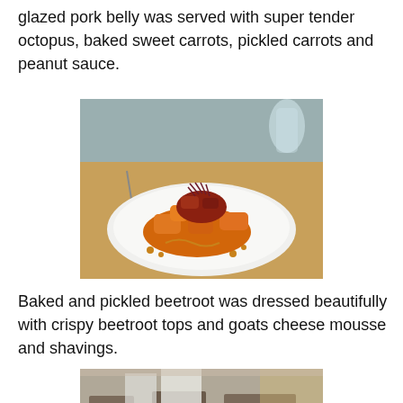glazed pork belly was served with super tender octopus, baked sweet carrots, pickled carrots and peanut sauce.
[Figure (photo): A gourmet dish on a white plate featuring glazed pork belly with octopus, baked sweet carrots, pickled carrots, and peanut sauce, garnished with micro greens, set on a restaurant table.]
Baked and pickled beetroot was dressed beautifully with crispy beetroot tops and goats cheese mousse and shavings.
[Figure (photo): A kitchen scene showing chefs working, partially visible, with kitchen equipment in the background, partially cropped at the bottom of the page.]